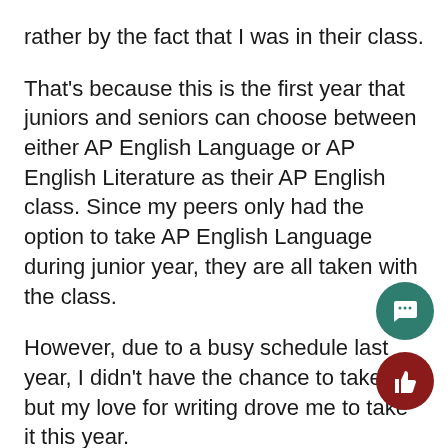rather by the fact that I was in their class.
That's because this is the first year that juniors and seniors can choose between either AP English Language or AP English Literature as their AP English class. Since my peers only had the option to take AP English Language during junior year, they are all taken with the class.
However, due to a busy schedule last year, I didn't have the chance to take it, but my love for writing drove me to take it this year.
But I am a lone senior.
The only person in my class who is actually allowed to park at school, the only person in my class who doesn't have to take gym, the only person in my class who will know where I'm going to college in the next few months.